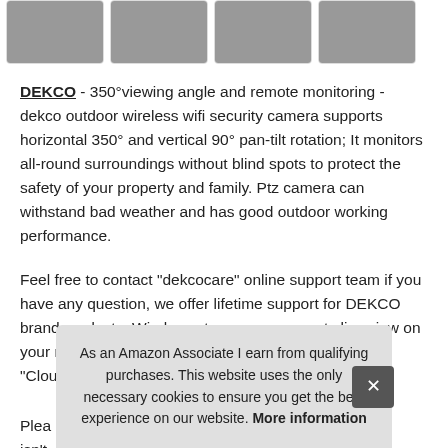[Figure (photo): Four thumbnail images of a security camera and its features in a horizontal strip]
DEKCO - 350°viewing angle and remote monitoring - dekco outdoor wireless wifi security camera supports horizontal 350° and vertical 90° pan-tilt rotation; It monitors all-round surroundings without blind spots to protect the safety of your property and family. Ptz camera can withstand bad weather and has good outdoor working performance.
Feel free to contact "dekcocare" online support team if you have any question, we offer lifetime support for DEKCO brand products. Wireless ptz camera supports live view on your mobile phone through downloading free App "CloudEdge".
Plea... isn't...
As an Amazon Associate I earn from qualifying purchases. This website uses the only necessary cookies to ensure you get the best experience on our website. More information